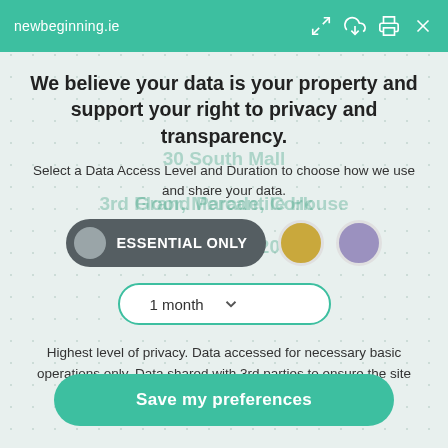newbeginning.ie
We believe your data is your property and support your right to privacy and transparency.
Select a Data Access Level and Duration to choose how we use and share your data.
[Figure (infographic): Three consent option buttons: ESSENTIAL ONLY (dark grey pill with grey circle), a gold circle, and a purple circle]
[Figure (infographic): Dropdown selector showing '1 month' with a teal border and chevron]
Highest level of privacy. Data accessed for necessary basic operations only. Data shared with 3rd parties to ensure the site is secure and works on your device
Save my preferences